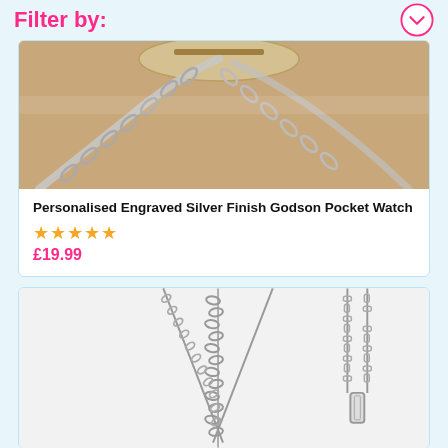Filter by:
[Figure (photo): Close-up photo of silver chain links on a wooden surface with a pocket watch visible at the top.]
Personalised Engraved Silver Finish Godson Pocket Watch
★★★★★
£19.99
[Figure (photo): Product photo showing two silver necklace chains hanging against a white background, one with a curb chain and one with a cable chain.]